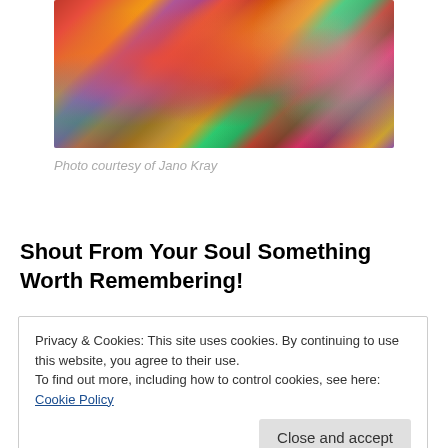[Figure (photo): A colorful bouquet of roses in various colors including orange, red, purple, pink, and yellow displayed in a flower shop setting.]
Photo courtesy of Jano Kray
Shout From Your Soul Something Worth Remembering!
Privacy & Cookies: This site uses cookies. By continuing to use this website, you agree to their use.
To find out more, including how to control cookies, see here: Cookie Policy